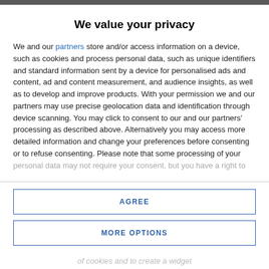We value your privacy
We and our partners store and/or access information on a device, such as cookies and process personal data, such as unique identifiers and standard information sent by a device for personalised ads and content, ad and content measurement, and audience insights, as well as to develop and improve products. With your permission we and our partners may use precise geolocation data and identification through device scanning. You may click to consent to our and our partners' processing as described above. Alternatively you may access more detailed information and change your preferences before consenting or to refuse consenting. Please note that some processing of your personal data may not require your consent, but you have a right to
AGREE
MORE OPTIONS
of cookies and to create a widget